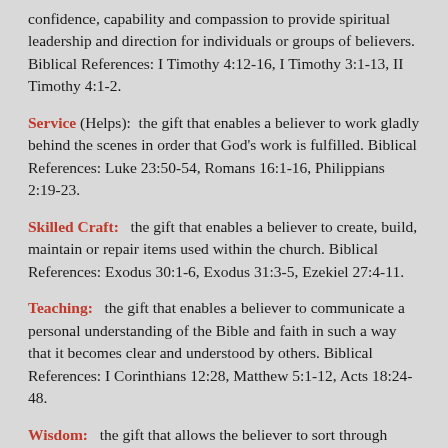confidence, capability and compassion to provide spiritual leadership and direction for individuals or groups of believers. Biblical References: I Timothy 4:12-16, I Timothy 3:1-13, II Timothy 4:1-2.
Service (Helps): the gift that enables a believer to work gladly behind the scenes in order that God's work is fulfilled. Biblical References: Luke 23:50-54, Romans 16:1-16, Philippians 2:19-23.
Skilled Craft: the gift that enables a believer to create, build, maintain or repair items used within the church. Biblical References: Exodus 30:1-6, Exodus 31:3-5, Ezekiel 27:4-11.
Teaching: the gift that enables a believer to communicate a personal understanding of the Bible and faith in such a way that it becomes clear and understood by others. Biblical References: I Corinthians 12:28, Matthew 5:1-12, Acts 18:24-48.
Wisdom: the gift that allows the believer to sort through opinions, facts and thoughts in order to determine what solution would be best for the individual believer or the community of